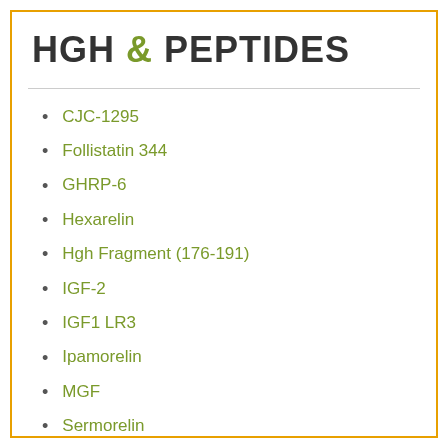HGH & PEPTIDES
CJC-1295
Follistatin 344
GHRP-6
Hexarelin
Hgh Fragment (176-191)
IGF-2
IGF1 LR3
Ipamorelin
MGF
Sermorelin
TB-500